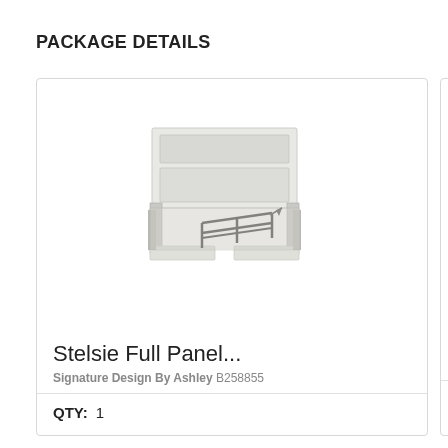PACKAGE DETAILS
[Figure (photo): White full panel bed frame with headboard and metal rail support, shown in perspective view on white background]
Stelsie Full Panel...
Signature Design By Ashley B258855
QTY:  1
Stelsie
Signature
QTY:  1